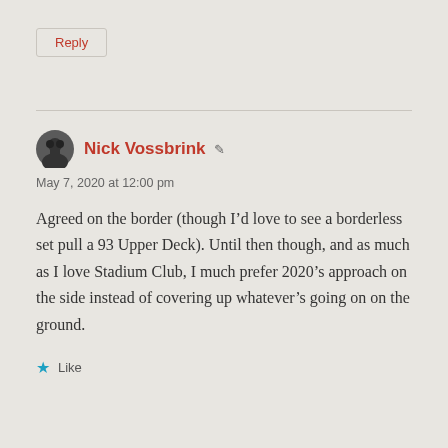Reply
Nick Vossbrink
May 7, 2020 at 12:00 pm
Agreed on the border (though I’d love to see a borderless set pull a 93 Upper Deck). Until then though, and as much as I love Stadium Club, I much prefer 2020’s approach on the side instead of covering up whatever’s going on on the ground.
Like